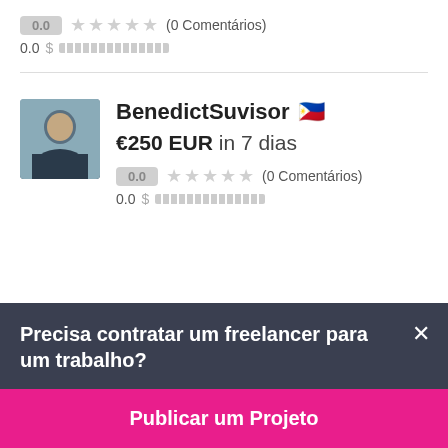0.0 ★★★★★ (0 Comentários)
0.0 $▒▒▒▒▒▒▒▒▒▒
BenedictSuvisor 🇵🇭
€250 EUR in 7 dias
0.0 ★★★★★ (0 Comentários)
0.0 $▒▒▒▒▒▒▒▒▒▒
Precisa contratar um freelancer para um trabalho?
Publicar um Projeto